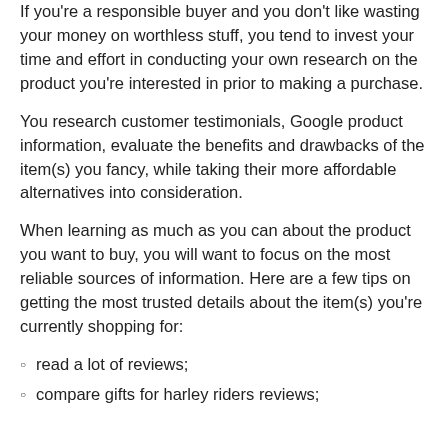If you're a responsible buyer and you don't like wasting your money on worthless stuff, you tend to invest your time and effort in conducting your own research on the product you're interested in prior to making a purchase.
You research customer testimonials, Google product information, evaluate the benefits and drawbacks of the item(s) you fancy, while taking their more affordable alternatives into consideration.
When learning as much as you can about the product you want to buy, you will want to focus on the most reliable sources of information. Here are a few tips on getting the most trusted details about the item(s) you're currently shopping for:
read a lot of reviews;
compare gifts for harley riders reviews;